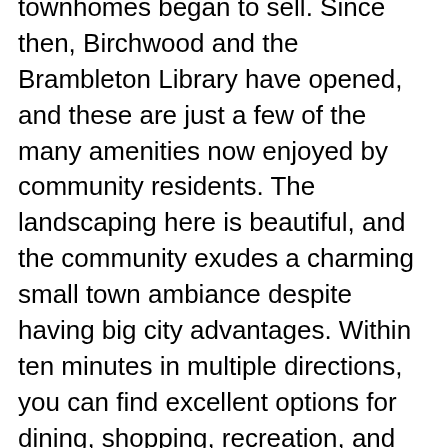townhomes began to sell. Since then, Birchwood and the Brambleton Library have opened, and these are just a few of the many amenities now enjoyed by community residents. The landscaping here is beautiful, and the community exudes a charming small town ambiance despite having big city advantages. Within ten minutes in multiple directions, you can find excellent options for dining, shopping, recreation, and entertainment. Not to mention the many conveniences offered in its Town Center. If you would like to learn more about the homes for sale in Brambleton or have questions regarding other real estate options in Ashburn, Virginia, please allow us to assist you and contact us today.